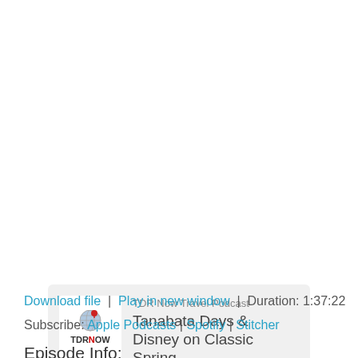[Figure (screenshot): Podcast player widget for TDR Now Travel Podcast, episode Tanabata Days & Disney on Classic Spring, showing play button, progress bar, playback controls (rewind 10, 1x speed, forward 30), time 00:00 / 1:37:22, and Subscribe/Share buttons]
Download file | Play in new window | Duration: 1:37:22
Subscribe: Apple Podcasts | Spotify | Stitcher
Episode Info: